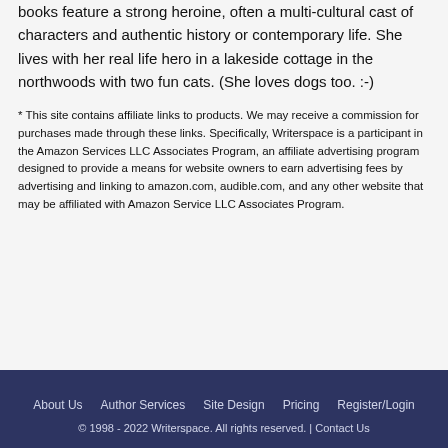books feature a strong heroine, often a multi-cultural cast of characters and authentic history or contemporary life. She lives with her real life hero in a lakeside cottage in the northwoods with two fun cats. (She loves dogs too. :-)
* This site contains affiliate links to products. We may receive a commission for purchases made through these links. Specifically, Writerspace is a participant in the Amazon Services LLC Associates Program, an affiliate advertising program designed to provide a means for website owners to earn advertising fees by advertising and linking to amazon.com, audible.com, and any other website that may be affiliated with Amazon Service LLC Associates Program.
About Us   Author Services   Site Design   Pricing   Register/Login
© 1998 - 2022 Writerspace. All rights reserved. | Contact Us